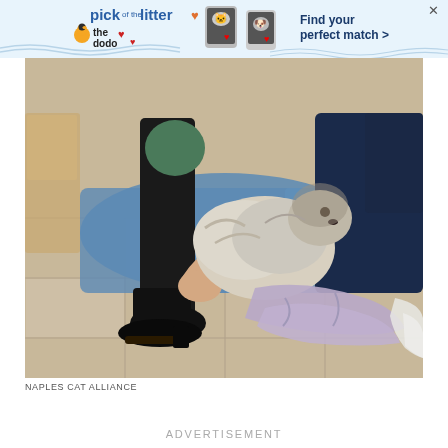[Figure (other): Advertisement banner for 'Pick of the Litter' by The Dodo pet adoption app, showing pet photos and text 'Find your perfect match >']
[Figure (photo): A person sitting on a tiled floor, wearing black pants and a black boot, petting a fluffy light-colored dog (possibly a shih tzu or similar breed) resting on a blue blanket/towel. A lavender towel is crumpled on the floor nearby and a white cloth is at the far right edge.]
NAPLES CAT ALLIANCE
ADVERTISEMENT